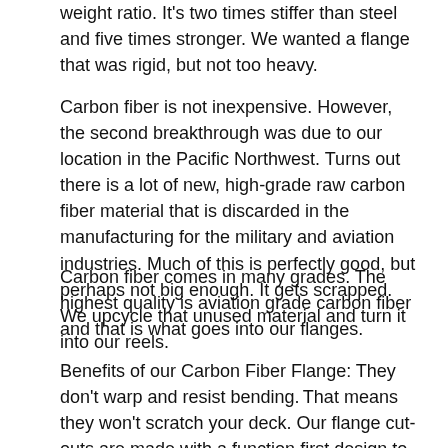weight ratio. It's two times stiffer than steel and five times stronger. We wanted a flange that was rigid, but not too heavy.
Carbon fiber is not inexpensive. However, the second breakthrough was due to our location in the Pacific Northwest. Turns out there is a lot of new, high-grade raw carbon fiber material that is discarded in the manufacturing for the military and aviation industries. Much of this is perfectly good, but perhaps not big enough. It gets scrapped. We upcycle that unused material and turn it into our reels.
Carbon fiber comes in many grades. The highest quality is aviation grade carbon fiber and that is what goes into our flanges.
Benefits of our Carbon Fiber Flange: They don't warp and resist bending. That means they won't scratch your deck. Our flange cut-outs are made with a function first design to make tape threading easier. Because they are very rigid and don't flex, they spin truer, which reduces motor wear, and some say that the reels sound better as a result.